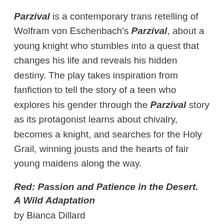Parzival is a contemporary trans retelling of Wolfram von Eschenbach's Parzival, about a young knight who stumbles into a quest that changes his life and reveals his hidden destiny. The play takes inspiration from fanfiction to tell the story of a teen who explores his gender through the Parzival story as its protagonist learns about chivalry, becomes a knight, and searches for the Holy Grail, winning jousts and the hearts of fair young maidens along the way.
Red: Passion and Patience in the Desert.
A Wild Adaptation
by Bianca Dillard
April 21 & 28 at 7:30 p.m. and April 24 at 2 p.m., May 4 TBA
Curtain Theater, located in the Randolph W. Bromery Center for the Arts at UMass
Red dramatizes the writings of Terry Tempest Williams and the women of the canyon country...